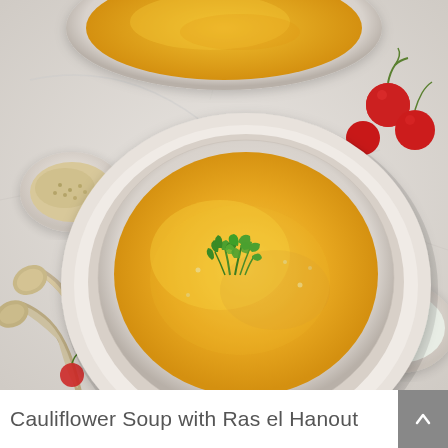[Figure (photo): Overhead flat-lay photo of a bowl of golden cauliflower soup garnished with fresh cilantro and sesame seeds, on a marble surface surrounded by silver spoons, a small bowl of seeds, cherry tomatoes on the vine, and a bowl of fresh cilantro. A second bowl of soup is partially visible at the top.]
Cauliflower Soup with Ras el Hanout Coconut Milk